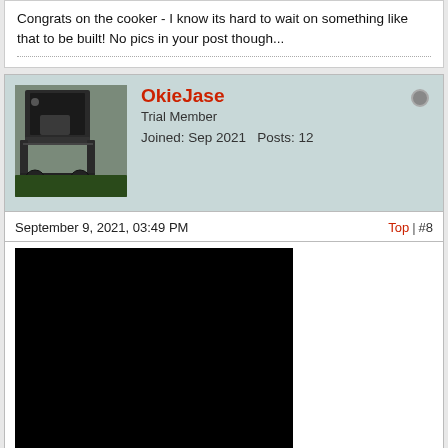Congrats on the cooker - I know its hard to wait on something like that to be built! No pics in your post though...
OkieJase
Trial Member
Joined: Sep 2021   Posts: 12
September 9, 2021, 03:49 PM
Top | #8
[Figure (photo): A black rectangular image, appears to be a dark or night photo with no visible detail.]